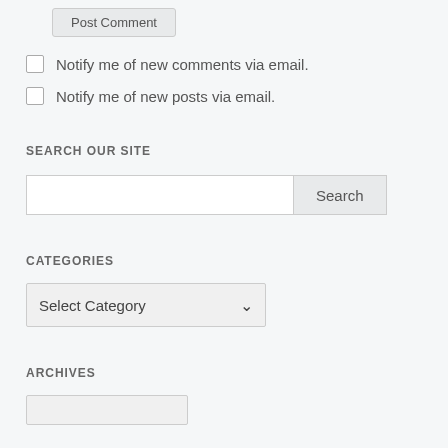Post Comment (button)
Notify me of new comments via email.
Notify me of new posts via email.
SEARCH OUR SITE
Search input and Search button
CATEGORIES
Select Category (dropdown)
ARCHIVES